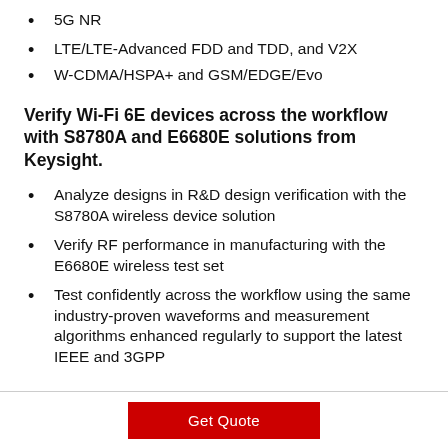5G NR
LTE/LTE-Advanced FDD and TDD, and V2X
W-CDMA/HSPA+ and GSM/EDGE/Evo
Verify Wi-Fi 6E devices across the workflow with S8780A and E6680E solutions from Keysight.
Analyze designs in R&D design verification with the S8780A wireless device solution
Verify RF performance in manufacturing with the E6680E wireless test set
Test confidently across the workflow using the same industry-proven waveforms and measurement algorithms enhanced regularly to support the latest IEEE and 3GPP
Get Quote